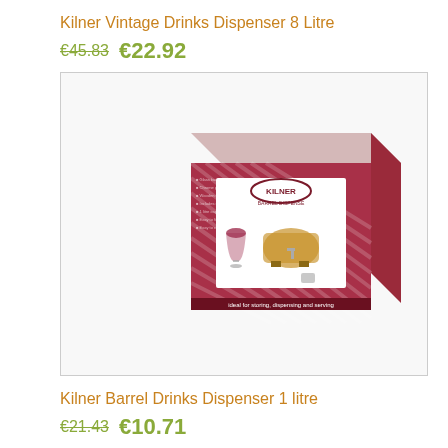Kilner Vintage Drinks Dispenser 8 Litre
€45.83  €22.92
[Figure (photo): Product photo of Kilner Barrel Drinks Dispenser in its retail box. Box shows a glass barrel-shaped dispenser on a wooden stand with a metal tap, next to a wine glass filled with red liquid. Box is dark red/maroon color with Kilner branding. A 'Save 50%' badge appears in the top-right corner. Navigation arrows on left and right sides of image frame.]
Kilner Barrel Drinks Dispenser 1 litre
€21.43  €10.71